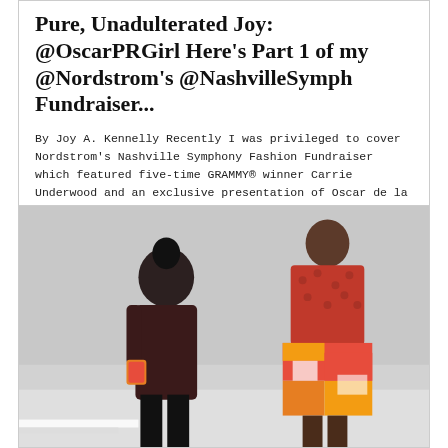Pure, Unadulterated Joy: @OscarPRGirl Here's Part 1 of my @Nordstrom's @NashvilleSymph Fundraiser...
By Joy A. Kennelly Recently I was privileged to cover Nordstrom's Nashville Symphony Fashion Fundraiser which featured five-time GRAMMY® winner Carrie Underwood and an exclusive presentation of Oscar de la Renta's Pre-Fall 2012 collection this past February. It was a beautiful evening start to finish.
[Figure (photo): Fashion show photo showing two models on a runway. Left model wearing dark maroon/burgundy blazer with black pants, back turned. Right model wearing a red polka-dot top and colorful patchwork skirt in red, orange, yellow, and white. Background is light grey.]